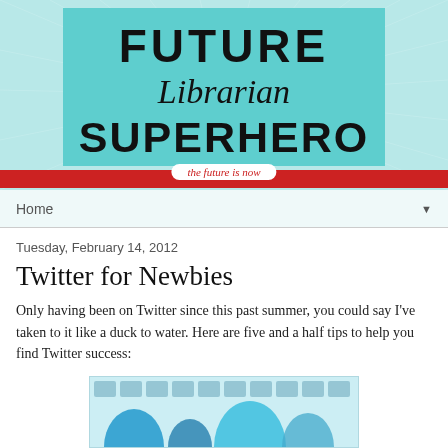[Figure (logo): Future Librarian Superhero blog header logo on teal background with ray burst, red stripe, and italic tagline 'the future is now']
Home ▼
Tuesday, February 14, 2012
Twitter for Newbies
Only having been on Twitter since this past summer, you could say I've taken to it like a duck to water. Here are five and a half tips to help you find Twitter success:
[Figure (screenshot): Screenshot of Twitter interface showing social media icons and bird/wave graphics in blue tones]